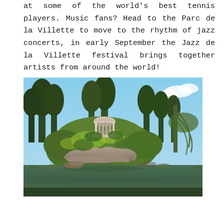at some of the world's best tennis players. Music fans? Head to the Parc de la Villette to move to the rhythm of jazz concerts, in early September the Jazz de la Villette festival brings together artists from around the world!
[Figure (photo): A scenic park landscape photograph showing a small neoclassical round temple/gazebo structure atop rocky outcropping covered with lush green foliage and ivy, surrounded by tall trees, with a calm reflective lake or pond in the foreground and blue sky with clouds in the background.]